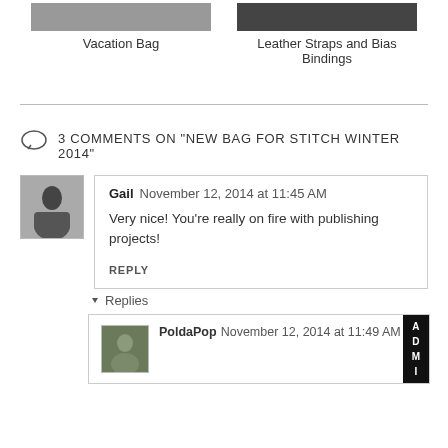Vacation Bag
Leather Straps and Bias Bindings
3 COMMENTS ON "NEW BAG FOR STITCH WINTER 2014"
Gail  November 12, 2014 at 11:45 AM
Very nice! You're really on fire with publishing projects!
REPLY
▼ Replies
PoldaPop  November 12, 2014 at 11:49 AM